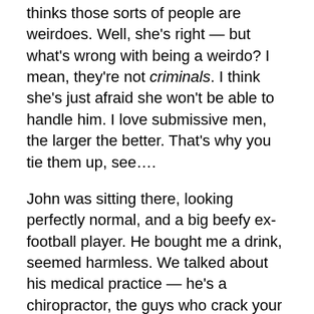thinks those sorts of people are weirdoes. Well, she's right — but what's wrong with being a weirdo? I mean, they're not criminals. I think she's just afraid she won't be able to handle him. I love submissive men, the larger the better. That's why you tie them up, see….
John was sitting there, looking perfectly normal, and a big beefy ex-football player. He bought me a drink, seemed harmless. We talked about his medical practice — he's a chiropractor, the guys who crack your back. Big, strong hands; the way he held his drink at the bar was so graceful. He talked about his wife a lot at first. She's perfect, he said. I mean, they're soul-mates and everything. She just won't dominate him. Isn't it funny what people want? They want a little of everything, all at different times. Sometimes I really love to dominate a man. Other times, I don't have anything but softness and